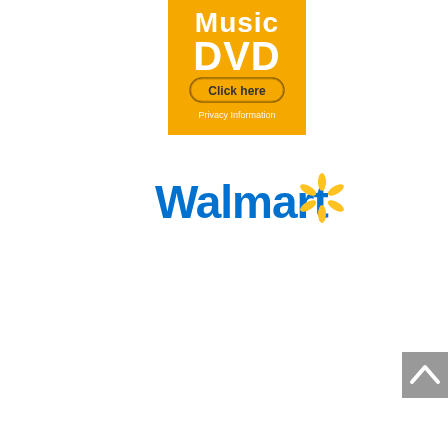[Figure (logo): Music DVD advertisement banner with orange background, 'Music DVD' text in white bold, a 'Click here' button, and 'Privacy Information' text below]
[Figure (logo): Walmart logo with blue 'Walmart' text and yellow spark/asterisk symbol to the right]
[Figure (other): Gray scroll-to-top button with upward chevron arrow, positioned at bottom right]